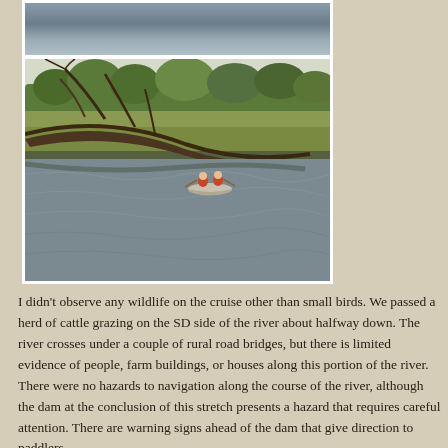[Figure (photo): Partial view of a river with calm water, top portion cropped]
[Figure (photo): Two paddlers in a canoe on a river, with a large fallen tree arching over the water, green trees and fields in the background]
I didn't observe any wildlife on the cruise other than small birds. We passed a herd of cattle grazing on the SD side of the river about halfway down. The river crosses under a couple of rural road bridges, but there is limited evidence of people, farm buildings, or houses along this portion of the river. There were no hazards to navigation along the course of the river, although the dam at the conclusion of this stretch presents a hazard that requires careful attention. There are warning signs ahead of the dam that give direction to paddlers.